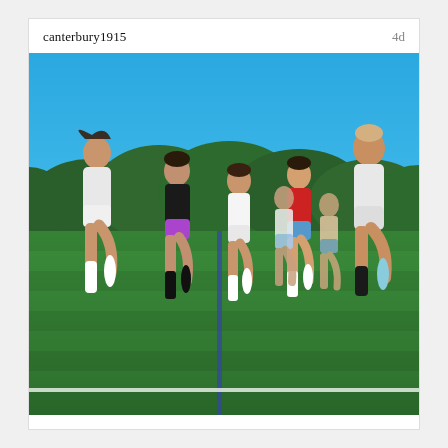canterbury1915
4d
[Figure (photo): A group of young women in athletic wear running and smiling on a green turf soccer field under a clear blue sky, with trees in the background. They are wearing a mix of white, black, pink/purple, and red outfits with knee-high socks.]